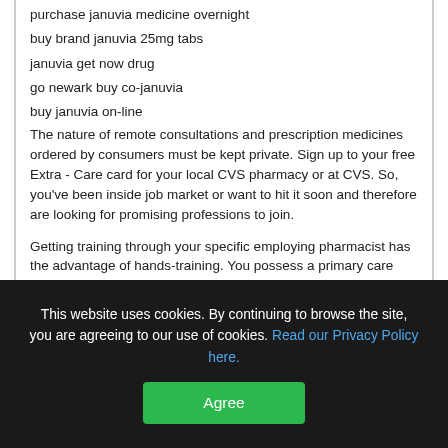purchase januvia medicine overnight
buy brand januvia 25mg tabs
januvia get now drug
go newark buy co-januvia
buy januvia on-line
The nature of remote consultations and prescription medicines ordered by consumers must be kept private. Sign up to your free Extra - Care card for your local CVS pharmacy or at CVS. So, you've been inside job market or want to hit it soon and therefore are looking for promising professions to join.
Getting training through your specific employing pharmacist has the advantage of hands-training. You possess a primary care doctor you trust with your medical care concerns, right. Be patient using the new replacement, you need her to take a look forward to
This website uses cookies. By continuing to browse the site, you are agreeing to our use of cookies. Read our Privacy Policy here.
Agree